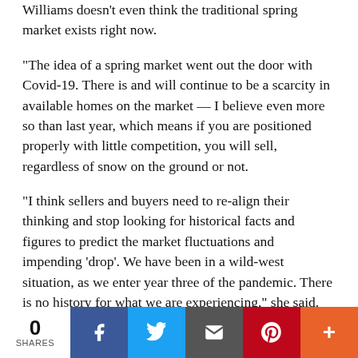Williams doesn't even think the traditional spring market exists right now.
“The idea of a spring market went out the door with Covid-19. There is and will continue to be a scarcity in available homes on the market — I believe even more so than last year, which means if you are positioned properly with little competition, you will sell, regardless of snow on the ground or not.
“I think sellers and buyers need to re-align their thinking and stop looking for historical facts and figures to predict the market fluctuations and impending ‘drop’. We have been in a wild-west situation, as we enter year three of the pandemic. There is no history for what we are experiencing,” she said.
Often sellers are fielding offers with highest and best terms, which do not include waiting on the sale of a buyer’s home, and in some cases, sight unseen. Home sale contingency offers are not impossible, but sellers need to be positioned properly before entering into the buyers’ market.
“In the high-end markets, cash still seems to be king, as I am seeing experienced agents putting in over-asking, cash non-
0 SHARES | Facebook | Twitter | Email | Pinterest | More